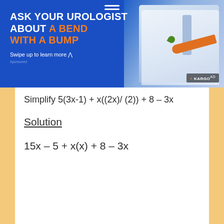[Figure (photo): Advertisement banner: blue background with bold white and orange text 'ASK YOUR UROLOGIST ABOUT A BEND WITH A BUMP', with a doctor in white coat holding a carrot, Kargo Ad badge in bottom right, menu icon at top center, and 'Swipe up to learn more' text.]
Simplify 5(3x-1) + x((2x)/ (2)) + 8 – 3x
Solution